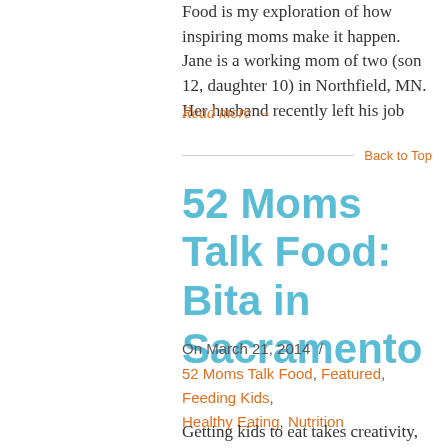Food is my exploration of how inspiring moms make it happen. Jane is a working mom of two (son 12, daughter 10) in Northfield, MN. Her husband recently left his job
Read more →
Back to Top
52 Moms Talk Food: Bita in Sacramento
On March 21, 2014  /
52 Moms Talk Food, Featured, Feeding Kids, Healthy Eating, Nutrition
Getting kids to eat takes creativity, patience and sometimes a bit of luck. 52 Moms Talk